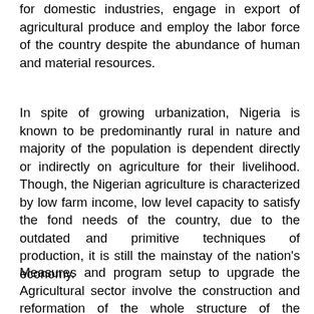for domestic industries, engage in export of agricultural produce and employ the labor force of the country despite the abundance of human and material resources.
In spite of growing urbanization, Nigeria is known to be predominantly rural in nature and majority of the population is dependent directly or indirectly on agriculture for their livelihood. Though, the Nigerian agriculture is characterized by low farm income, low level capacity to satisfy the fond needs of the country, due to the outdated and primitive techniques of production, it is still the mainstay of the nation's economy.
Measures and program setup to upgrade the Agricultural sector involve the construction and reformation of the whole structure of the agricultural sector by the operation of